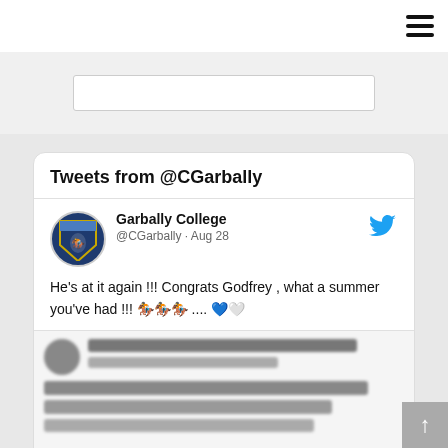Hamburger menu icon
[Figure (screenshot): Tweets from @CGarbally widget showing a tweet by Garbally College (@CGarbally · Aug 28): He's at it again !!! Congrats Godfrey , what a summer you've had !!! 🏇🏇🏇 .... 💙🤍. Below is a blurred embedded tweet/image about Horse Sport Ireland National Trials.]
Tweets from @CGarbally
Garbally College @CGarbally · Aug 28 He's at it again !!! Congrats Godfrey , what a summer you've had !!! 🏇🏇🏇 .... 💙🤍